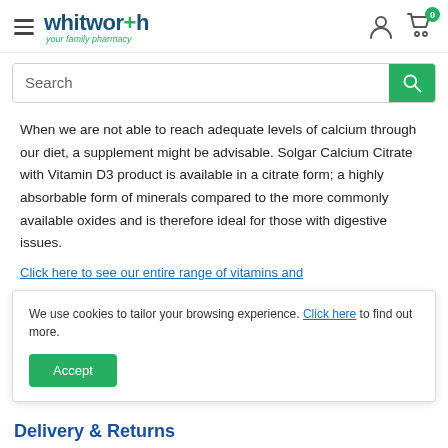whitworth+ your family pharmacy
Search
When we are not able to reach adequate levels of calcium through our diet, a supplement might be advisable. Solgar Calcium Citrate with Vitamin D3 product is available in a citrate form; a highly absorbable form of minerals compared to the more commonly available oxides and is therefore ideal for those with digestive issues.
Click here to see our entire range of vitamins and
We use cookies to tailor your browsing experience. Click here to find out more.
Delivery & Returns